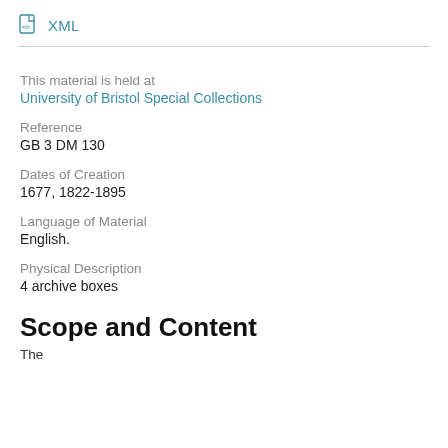XML
This material is held at
University of Bristol Special Collections
Reference
GB 3 DM 130
Dates of Creation
1677, 1822-1895
Language of Material
English.
Physical Description
4 archive boxes
Scope and Content
The ...1677, 1822-1895